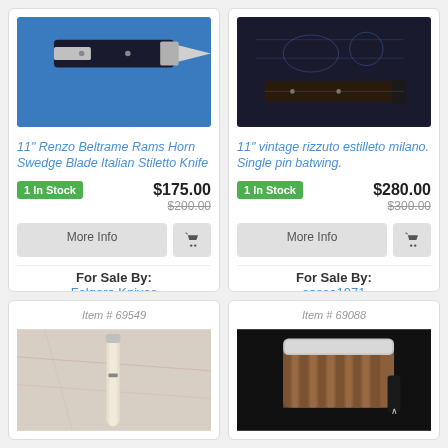[Figure (photo): Photo of a folding knife with dark handle on blue fabric background]
11" Renzo Beltrame Rams Horn Swedge Blade Italian Stiletto Knife
1 In Stock   $175.00   $200.00
More Info  [cart]
For Sale By: Folgore Knives
[Figure (photo): Photo of a stiletto knife on dark background with blueprint-style design]
11" vintage rizzuto estilleto milano. Single pin batwing.
1 In Stock   $280.00   $300.00
More Info  [cart]
For Sale By: sasso1971
Item # 69549
[Figure (photo): Photo of a slim knife with light ivory/bone handle on marble background]
Item # 69088
[Figure (photo): Close-up photo of a knife with striped wood handle and silver bolster on dark background]